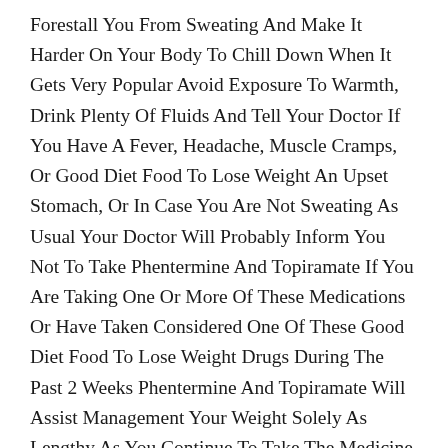Forestall You From Sweating And Make It Harder On Your Body To Chill Down When It Gets Very Popular Avoid Exposure To Warmth, Drink Plenty Of Fluids And Tell Your Doctor If You Have A Fever, Headache, Muscle Cramps, Or Good Diet Food To Lose Weight An Upset Stomach, Or In Case You Are Not Sweating As Usual Your Doctor Will Probably Inform You Not To Take Phentermine And Topiramate If You Are Taking One Or More Of These Medications Or Have Taken Considered One Of These Good Diet Food To Lose Weight Drugs During The Past 2 Weeks Phentermine And Topiramate Will Assist Management Your Weight Solely As Lengthy As You Continue To Take The Medicine Do Not Cease Taking Phentermine And Topiramate Without Speaking To Your Doctor.
Diet And Way Of Life Adjustments Are Normally One Of